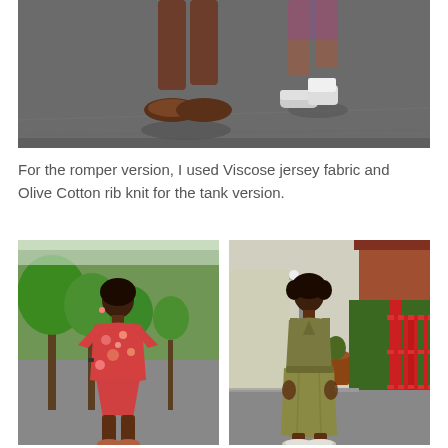[Figure (photo): Close-up photo of two people's feet/legs walking on asphalt pavement. Left person wearing brown loafers, right person wearing sneakers.]
For the romper version, I used Viscose jersey fabric and Olive Cotton rib knit for the tank version.
[Figure (photo): Woman standing on a tree-lined road wearing a red/orange floral romper with short sleeves and brown sandals.]
[Figure (photo): Woman standing on a sidewalk wearing an olive/khaki sleeveless tank top and skirt outfit with silver flat shoes.]